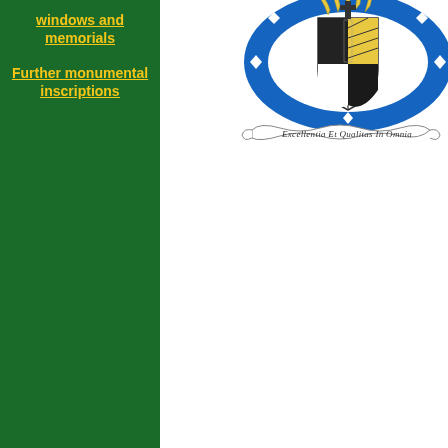windows and memorials
Further monumental inscriptions
[Figure (logo): Coat of arms with blue circular border, heraldic shield, and a scroll banner reading 'Excellentia Et Qualitas In Omnia']